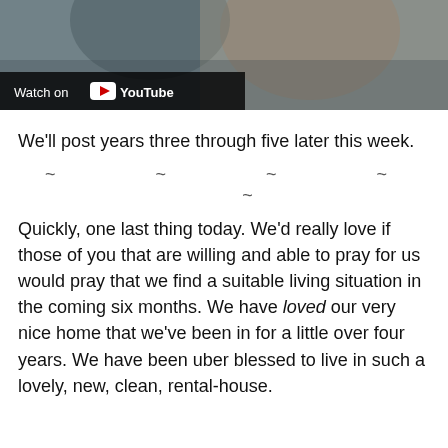[Figure (screenshot): YouTube video thumbnail showing a person lying down, with a 'Watch on YouTube' overlay button in the bottom left corner.]
We'll post years three through five later this week.
~ ~ ~ ~ ~
Quickly, one last thing today. We'd really love if those of you that are willing and able to pray for us would pray that we find a suitable living situation in the coming six months. We have loved our very nice home that we've been in for a little over four years. We have been uber blessed to live in such a lovely, new, clean, rental-house.